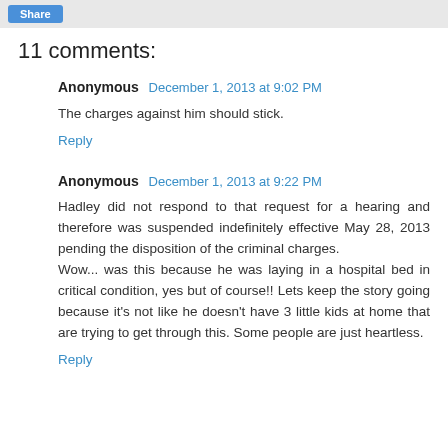11 comments:
Anonymous  December 1, 2013 at 9:02 PM
The charges against him should stick.
Reply
Anonymous  December 1, 2013 at 9:22 PM
Hadley did not respond to that request for a hearing and therefore was suspended indefinitely effective May 28, 2013 pending the disposition of the criminal charges.
Wow... was this because he was laying in a hospital bed in critical condition, yes but of course!! Lets keep the story going because it's not like he doesn't have 3 little kids at home that are trying to get through this. Some people are just heartless.
Reply